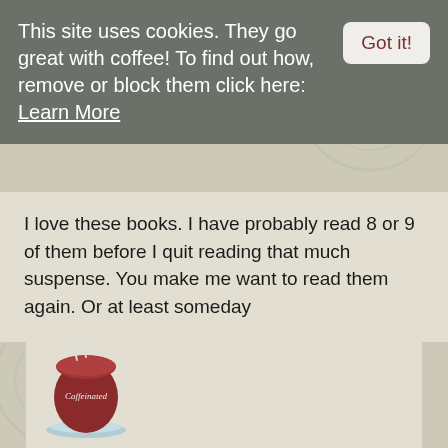This site uses cookies. They go great with coffee! To find out how, remove or block them click here: Learn More
Got it!
I love these books. I have probably read 8 or 9 of them before I quit reading that much suspense. You make me want to read them again. Or at least someday
[Figure (illustration): Caffeinated book blog logo: a dark red coffee cup with steam rising and the word Caffeinated written in white script on the cup, sitting on a light blue saucer]
Kimbacaffeinate
August 23rd, 2017
I devoured these and was delighted to see a new one 🙂